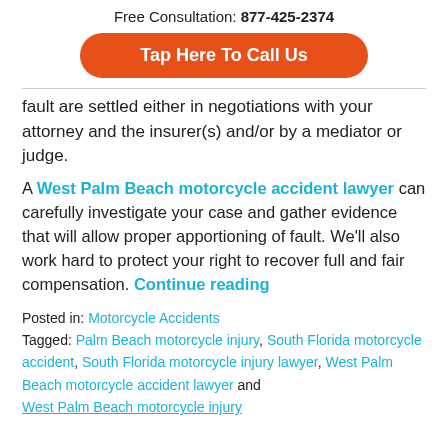Free Consultation: 877-425-2374
Tap Here To Call Us
fault are settled either in negotiations with your attorney and the insurer(s) and/or by a mediator or judge.
A West Palm Beach motorcycle accident lawyer can carefully investigate your case and gather evidence that will allow proper apportioning of fault. We'll also work hard to protect your right to recover full and fair compensation. Continue reading
Posted in: Motorcycle Accidents
Tagged: Palm Beach motorcycle injury, South Florida motorcycle accident, South Florida motorcycle injury lawyer, West Palm Beach motorcycle accident lawyer and West Palm Beach motorcycle injury